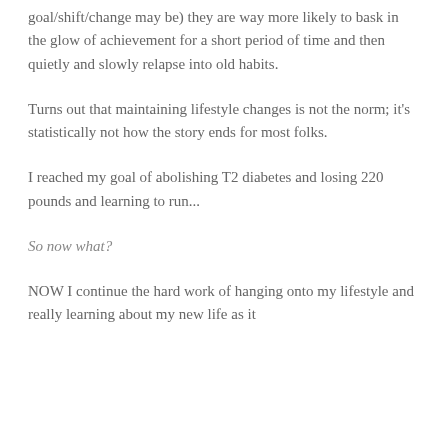goal/shift/change may be) they are way more likely to bask in the glow of achievement for a short period of time and then quietly and slowly relapse into old habits.
Turns out that maintaining lifestyle changes is not the norm; it's statistically not how the story ends for most folks.
I reached my goal of abolishing T2 diabetes and losing 220 pounds and learning to run...
So now what?
NOW I continue the hard work of hanging onto my lifestyle and really learning about my new life as it